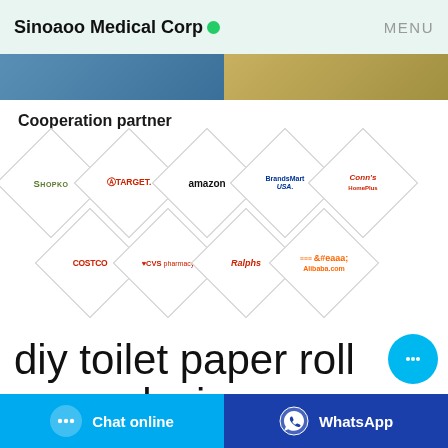Sinoaoo Medical Corp  MENU
[Figure (photo): Two partial product/banner images side by side at top of page]
Cooperation partner
[Figure (infographic): Nine diamond-shaped logos of retail partners: Shopko, Target, Amazon, BrandsMart USA, Conn's HomePlus, Costco, CVS pharmacy, Ralphs, Alibaba.com arranged in two rows]
diy toilet paper roll roses designs
Chat online  WhatsApp